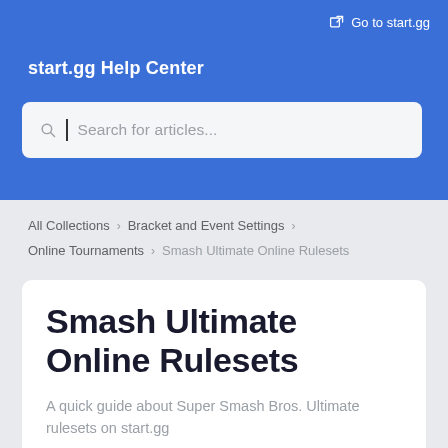Go to start.gg
start.gg Help Center
[Figure (screenshot): Search bar with placeholder text 'Search for articles...']
All Collections > Bracket and Event Settings > Online Tournaments > Smash Ultimate Online Rulesets
Smash Ultimate Online Rulesets
A quick guide about Super Smash Bros. Ultimate rulesets on start.gg